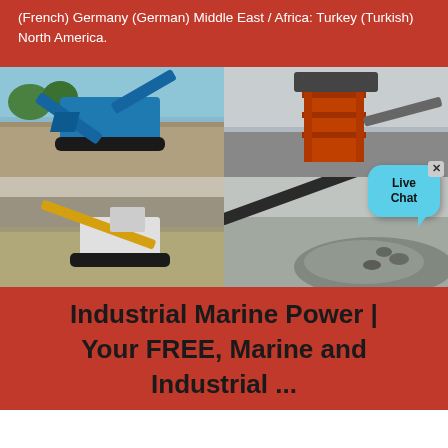(French) Germany (German) Middle East / Africa: Turkey (Turkish) North America.
[Figure (photo): Four-panel photo grid showing industrial mining and crushing equipment: top-left shows a blue mobile crusher/conveyor on a gravel site; top-right shows a large orange industrial processing tower structure; bottom-left shows a large yellow dragline/excavator on a mine site; bottom-right shows a conveyor belt and aggregate/gravel pile.]
Industrial Marine Power | Your FREE, Marine and Industrial ...